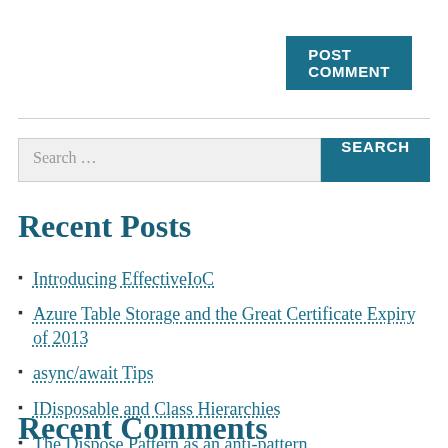POST COMMENT
Search ...
Recent Posts
Introducing EffectiveIoC
Azure Table Storage and the Great Certificate Expiry of 2013
async/await Tips
IDisposable and Class Hierarchies
The Dispose Pattern as an anti-pattern
Recent Comments